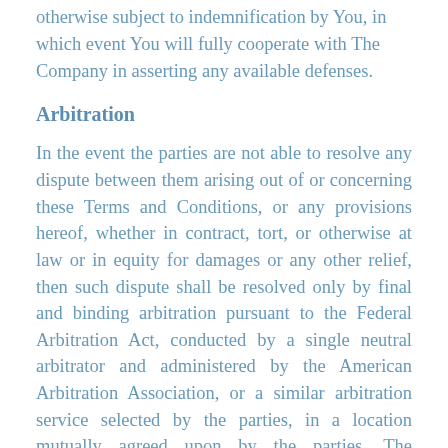otherwise subject to indemnification by You, in which event You will fully cooperate withThe Company in asserting any available defenses.
Arbitration
In the event the parties are not able to resolve any dispute between them arising out of or concerning these Terms and Conditions, or any provisions hereof, whether in contract, tort, or otherwise at law or in equity for damages or any other relief, then such dispute shall be resolved only by final and binding arbitration pursuant to the Federal Arbitration Act, conducted by a single neutral arbitrator and administered by the American Arbitration Association, or a similar arbitration service selected by the parties, in a location mutually agreed upon by the parties. The arbitrator's award shall be final, and judgment may be entered upon it